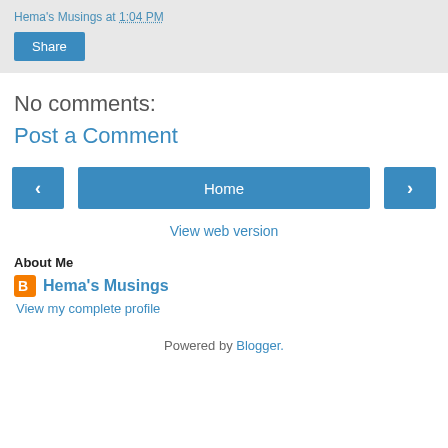Hema's Musings at 1:04 PM
[Figure (other): Share button - blue rectangular button with white text 'Share']
No comments:
Post a Comment
[Figure (other): Navigation row with left arrow button, Home button, and right arrow button]
View web version
About Me
Hema's Musings
View my complete profile
Powered by Blogger.